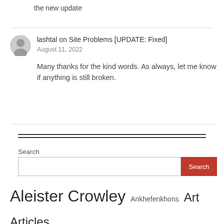the new update
lashtal on Site Problems [UPDATE: Fixed]
August 11, 2022
Many thanks for the kind words. As always, let me know if anything is still broken.
Search
Aleister Crowley  Ankhefenkhons  Art  Articles
Austin Osman Spare  Biography  Boleskine